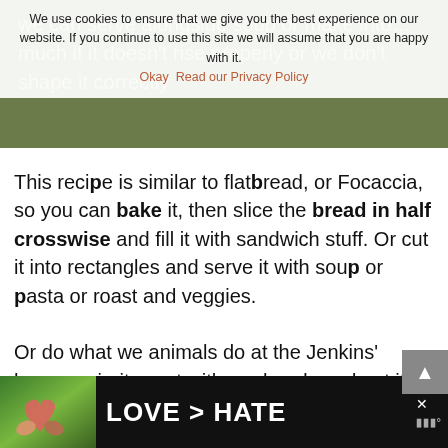we can serve alongside soup or make into... much if it doesn't rise properly or we don't shape it correctly.
We use cookies to ensure that we give you the best experience on our website. If you continue to use this site we will assume that you are happy with it. Okay Read our Privacy Policy
This recipe is similar to flatbread, or Focaccia, so you can bake it, then slice the bread in half crosswise and fill it with sandwich stuff. Or cut it into rectangles and serve it with soup or pasta or roast and veggies.
Or do what we animals do at the Jenkins' house – rip it apart with our hands and eat it plain.
[Figure (advertisement): Ad banner with heart-hands image and text LOVE > HATE on dark background]